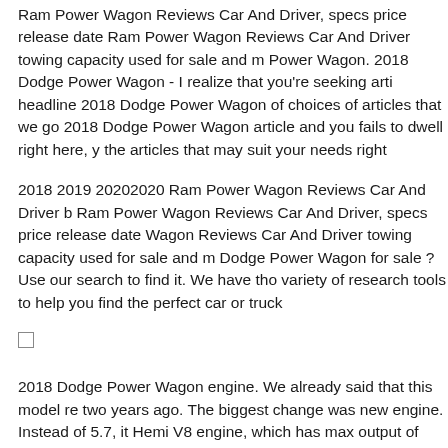Ram Power Wagon Reviews Car And Driver, specs price release date Ram Power Wagon Reviews Car And Driver towing capacity used for sale and more Power Wagon. 2018 Dodge Power Wagon - I realize that you're seeking articles on our headline 2018 Dodge Power Wagon of choices of articles that we got. If you are trying to find 2018 Dodge Power Wagon article and you fails to dwell right here, you can see from some of the articles that may suit your needs right
2018 2019 20202020 Ram Power Wagon Reviews Car And Driver base Ram Power Wagon Reviews Car And Driver, specs price release date Ram Power Wagon Reviews Car And Driver towing capacity used for sale and more Looking for a Dodge Power Wagon for sale ? Use our search to find it. We have tho a variety of research tools to help you find the perfect car or truck
[Figure (other): Small empty checkbox/square UI element]
2018 Dodge Power Wagon engine. We already said that this model received update two years ago. The biggest change was new engine. Instead of 5.7, it now comes with Hemi V8 engine, which has max output of over 410 horsepower and The 2018 Ram Power Wagon will retain all the goodies of its predecessor with some refinements. In other words, this new Power Wagon will set a whole